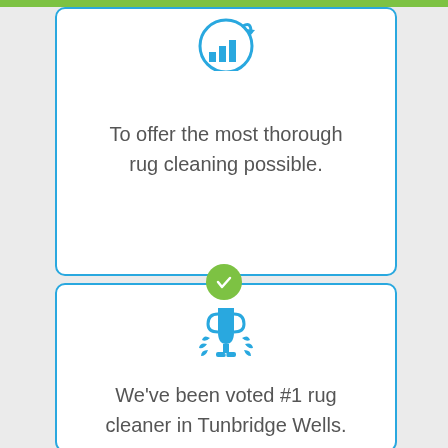[Figure (infographic): Upper card with blue circular icon showing bar chart with refresh/cycle arrows, partially visible at top of page]
To offer the most thorough rug cleaning possible.
[Figure (infographic): Green circle with white checkmark connecting the two cards]
[Figure (infographic): Lower card with blue trophy/award icon with laurel wreath]
We've been voted #1 rug cleaner in Tunbridge Wells.